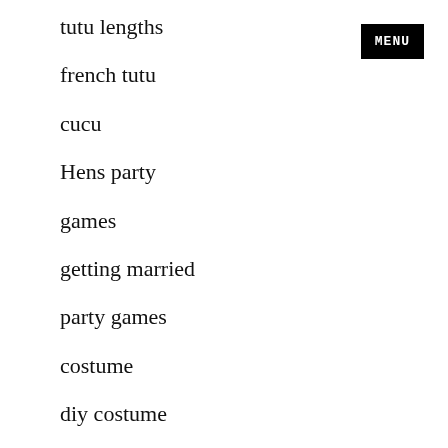tutu lengths
french tutu
cucu
Hens party
games
getting married
party games
costume
diy costume
[Figure (other): Black rectangular MENU button in top right corner]